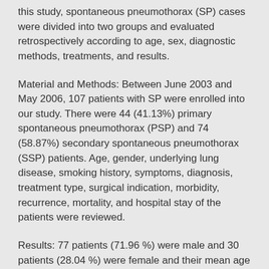this study, spontaneous pneumothorax (SP) cases were divided into two groups and evaluated retrospectively according to age, sex, diagnostic methods, treatments, and results.
Material and Methods: Between June 2003 and May 2006, 107 patients with SP were enrolled into our study. There were 44 (41.13%) primary spontaneous pneumothorax (PSP) and 74 (58.87%) secondary spontaneous pneumothorax (SSP) patients. Age, gender, underlying lung disease, smoking history, symptoms, diagnosis, treatment type, surgical indication, morbidity, recurrence, mortality, and hospital stay of the patients were reviewed.
Results: 77 patients (71.96 %) were male and 30 patients (28.04 %) were female and their mean age was 45.7±19.1 years. Chronic obstructive lung disease (COLD) was the most common (39.68%) cause detected in the cases with